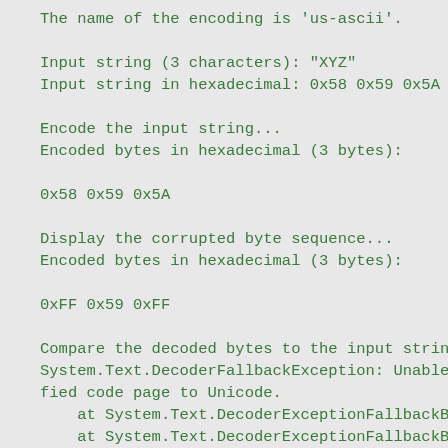The name of the encoding is 'us-ascii'.

Input string (3 characters): "XYZ"
Input string in hexadecimal: 0x58 0x59 0x5A

Encode the input string...
Encoded bytes in hexadecimal (3 bytes):

0x58 0x59 0x5A

Display the corrupted byte sequence...
Encoded bytes in hexadecimal (3 bytes):

0xFF 0x59 0xFF

Compare the decoded bytes to the input string..
System.Text.DecoderFallbackException: Unable to translate bytes [FF][59][FF] at index 0 from specified code page to Unicode.
   at System.Text.DecoderExceptionFallbackBuffer...
   at System.Text.DecoderExceptionFallbackBuffer...
)
   at System.Text.DecoderFallbackBuffer.Interna...
   at System.Text.ASCIIEncoding.GetCharCount(Byt...